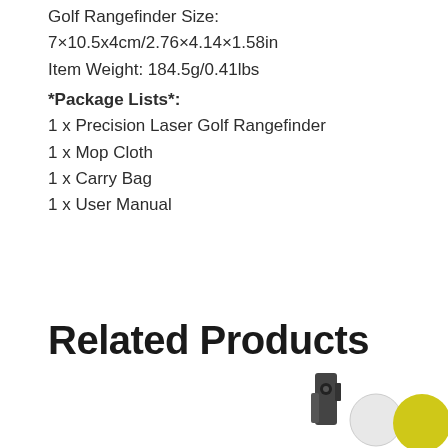Golf Rangefinder Size:
7×10.5x4cm/2.76×4.14×1.58in
Item Weight: 184.5g/0.41lbs
*Package Lists*:
1 x Precision Laser Golf Rangefinder
1 x Mop Cloth
1 x Carry Bag
1 x User Manual
Related Products
[Figure (photo): Partial view of a golf rangefinder product image at bottom of page, with a yellow circle button and gray circle on the right side]